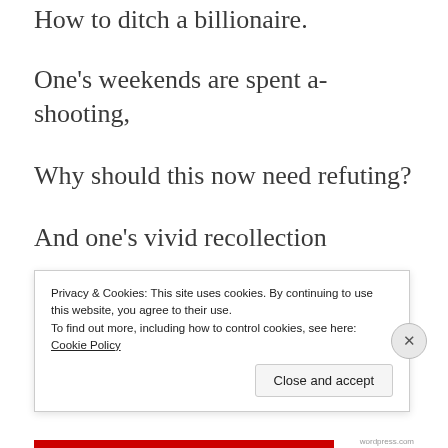How to ditch a billionaire.
One’s weekends are spent a-shooting,
Why should this now need refuting?
And one’s vivid recollection
Is of showing no affection.
Privacy & Cookies: This site uses cookies. By continuing to use this website, you agree to their use.
To find out more, including how to control cookies, see here: Cookie Policy